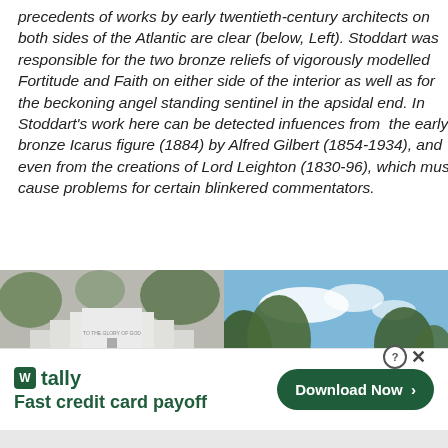precedents of works by early twentieth-century architects on both sides of the Atlantic are clear (below, Left). Stoddart was responsible for the two bronze reliefs of vigorously modelled Fortitude and Faith on either side of the interior as well as for the beckoning angel standing sentinel in the apsidal end. In Stoddart's work here can be detected infuences from  the early bronze Icarus figure (1884) by Alfred Gilbert (1854-1934), and even from the creations of Lord Leighton (1830-96), which must cause problems for certain blinkered commentators.
[Figure (photo): Left photo: exterior of a white modernist church building with a cross and text 'TO THE GLORY OF GOD' inscribed, trees visible in background.]
[Figure (photo): Right photo: roof peak of a building with wooden shingles against a blue sky with trees.]
[Figure (screenshot): Advertisement banner for Tally app: logo with 'W tally', tagline 'Fast credit card payoff', and a green 'Download Now' button with arrow. Close button (X) and help (?) icons in top right.]